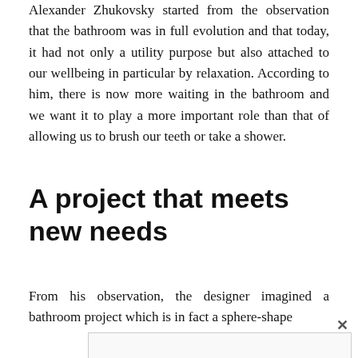Alexander Zhukovsky started from the observation that the bathroom was in full evolution and that today, it had not only a utility purpose but also attached to our wellbeing in particular by relaxation. According to him, there is now more waiting in the bathroom and we want it to play a more important role than that of allowing us to brush our teeth or take a shower.
A project that meets new needs
From his observation, the designer imagined a bathroom project which is in fact a sphere-shape
[Figure (other): Advertisement banner for Cremo Grooming Product with Cremo logo, text 'Shop Cremo Grooming Product Cremocompany.com' and a blue navigation icon. Has a close (X) button and ad control icons.]